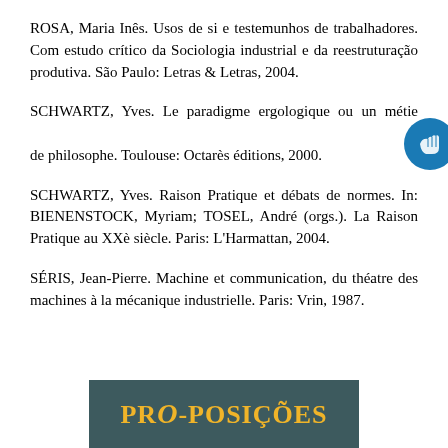ROSA, Maria Inês. Usos de si e testemunhos de trabalhadores. Com estudo crítico da Sociologia industrial e da reestruturação produtiva. São Paulo: Letras & Letras, 2004.
SCHWARTZ, Yves. Le paradigme ergologique ou un métier de philosophe. Toulouse: Octarès éditions, 2000.
SCHWARTZ, Yves. Raison Pratique et débats de normes. In: BIENENSTOCK, Myriam; TOSEL, André (orgs.). La Raison Pratique au XXè siècle. Paris: L'Harmattan, 2004.
SÉRIS, Jean-Pierre. Machine et communication, du théatre des machines à la mécanique industrielle. Paris: Vrin, 1987.
[Figure (logo): PRO-POSIÇÕES journal logo banner with gold text on dark teal background]